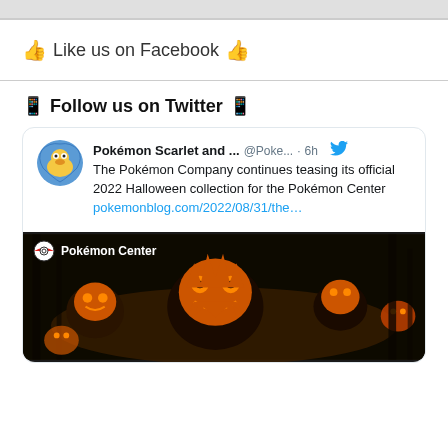👍 Like us on Facebook 👍
📱 Follow us on Twitter 📱
[Figure (screenshot): Embedded tweet from Pokémon Scarlet and... @Poke... 6h: The Pokémon Company continues teasing its official 2022 Halloween collection for the Pokémon Center pokemonblog.com/2022/08/31/the... with an image showing Pokémon Center Halloween artwork with ghost-type Pokémon in orange on dark background.]